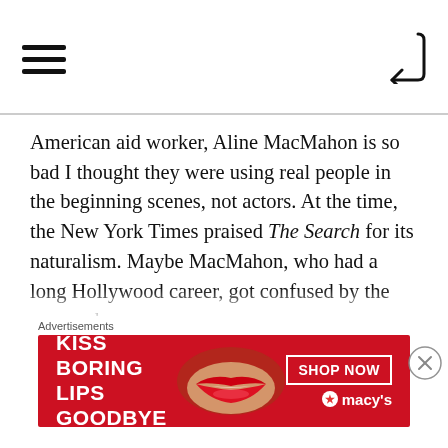Navigation header with hamburger menu and back button
American aid worker, Aline MacMahon is so bad I thought they were using real people in the beginning scenes, not actors. At the time, the New York Times praised The Search for its naturalism. Maybe MacMahon, who had a long Hollywood career, got confused by the approach.
Since one could get the same experience (save Clift) from a decent history book as The Search, it's hard to get particularly excited about it
Advertisements
[Figure (other): Macy's lipstick advertisement banner reading KISS BORING LIPS GOODBYE with red lips image and SHOP NOW button with Macy's star logo]